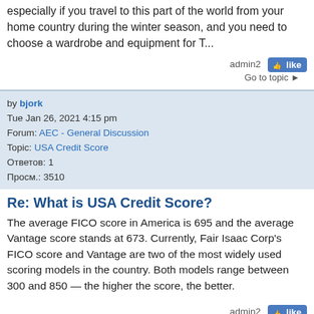especially if you travel to this part of the world from your home country during the winter season, and you need to choose a wardrobe and equipment for T...
admin2  like  Go to topic »
by bjork
Tue Jan 26, 2021 4:15 pm
Forum: AEC - General Discussion
Topic: USA Credit Score ᠎᠎᠎᠎᠎᠎
Ответов: 1
Просм.: 3510
Re: What is USA Credit Score?
The average FICO score in America is 695 and the average Vantage score stands at 673. Currently, Fair Isaac Corp's FICO score and Vantage are two of the most widely used scoring models in the country. Both models range between 300 and 850 — the higher the score, the better.
admin2  like  Go to topic »
by Akusta
Wed Jan 13, 2021 2:06 pm
Forum: Joomla Support
Topic: Up Speed Your Joomla site witch MDB Optimize
Ответов: 2
Просм.: 9835
Re: Up Speed Your Joomla site witch MDB Optimize
How to Improve your Joomla Speed 1.Keep Joomla! and its Extensions